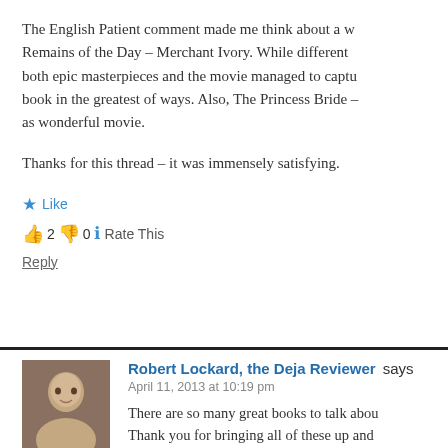The English Patient comment made me think about a w Remains of the Day – Merchant Ivory. While different both epic masterpieces and the movie managed to capt book in the greatest of ways. Also, The Princess Bride as wonderful movie.
Thanks for this thread – it was immensely satisfying.
★ Like
👍 2 👎 0 ℹ Rate This
Reply
Robert Lockard, the Deja Reviewer says
April 11, 2013 at 10:19 pm
There are so many great books to talk abou Thank you for bringing all of these up and